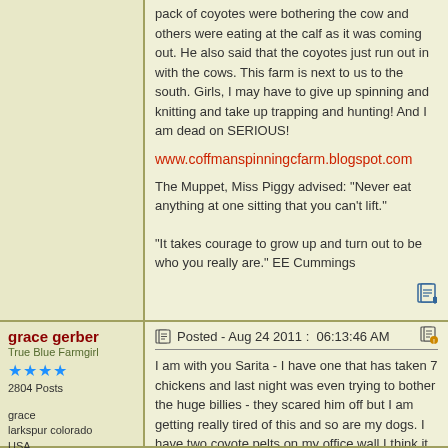pack of coyotes were bothering the cow and others were eating at the calf as it was coming out. He also said that the coyotes just run out in with the cows. This farm is next to us to the south. Girls, I may have to give up spinning and knitting and take up trapping and hunting! And I am dead on SERIOUS!
www.coffmanspinningcfarm.blogspot.com
The Muppet, Miss Piggy advised: "Never eat anything at one sitting that you can't lift."
"It takes courage to grow up and turn out to be who you really are." EE Cummings
Posted - Aug 24 2011 :  06:13:46 AM
grace gerber
True Blue Farmgirl
2804 Posts
grace
larkspur colorado
USA
2804 Posts
I am with you Sarita - I have one that has taken 7 chickens and last night was even trying to bother the huge billies - they scared him off but I am getting really tired of this and so are my dogs. I have two coyote pelts on my office wall I think it is time to make it three. Good luck on the hunt and I am so sorry for the troubles. Great to hear about the alfafa - not much to pick from